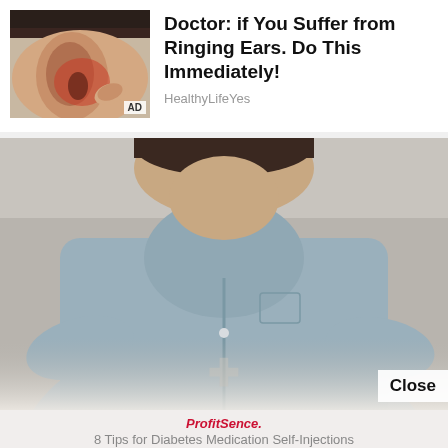[Figure (photo): Close-up photo of a human ear with reddish/pink highlight near the ear canal, serving as an advertisement image. 'AD' badge in lower right corner.]
Doctor: if You Suffer from Ringing Ears. Do This Immediately!
HealthyLifeYes
[Figure (photo): Photo of a man in a light blue button-up shirt hunched over, looking downward, appearing to be in discomfort or pain. A 'Close' button appears in the lower right. The lower portion fades into a light background with a faint watermark-style logo.]
ProfitSence.
8 Tips for Diabetes Medication Self-Injections